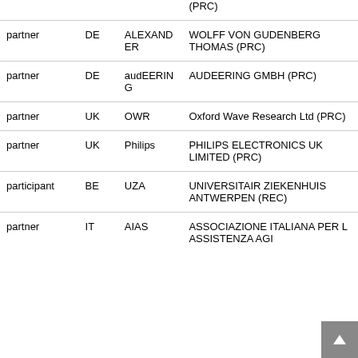| Role | Country | Short Name | Full Name |
| --- | --- | --- | --- |
|  |  |  | (PRC) |
| partner | DE | ALEXANDER | WOLFF VON GUDENBERG THOMAS (PRC) |
| partner | DE | audEERING | AUDEERING GMBH (PRC) |
| partner | UK | OWR | Oxford Wave Research Ltd (PRC) |
| partner | UK | Philips | PHILIPS ELECTRONICS UK LIMITED (PRC) |
| participant | BE | UZA | UNIVERSITAIR ZIEKENHUIS ANTWERPEN (REC) |
| partner | IT | AIAS | ASSOCIAZIONE ITALIANA PER L ASSISTENZA AGI... |